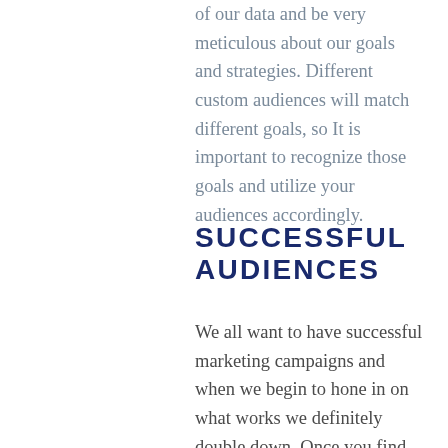of our data and be very meticulous about our goals and strategies. Different custom audiences will match different goals, so It is important to recognize those goals and utilize your audiences accordingly.
SUCCESSFUL AUDIENCES
We all want to have successful marketing campaigns and when we begin to hone in on what works we definitely double down. Once you find what works then